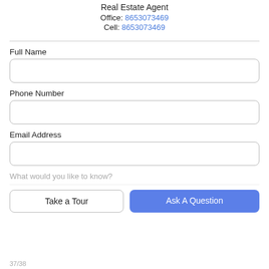Real Estate Agent
Office: 8653073469
Cell: 8653073469
Full Name
Phone Number
Email Address
What would you like to know?
Take a Tour
Ask A Question
37/38